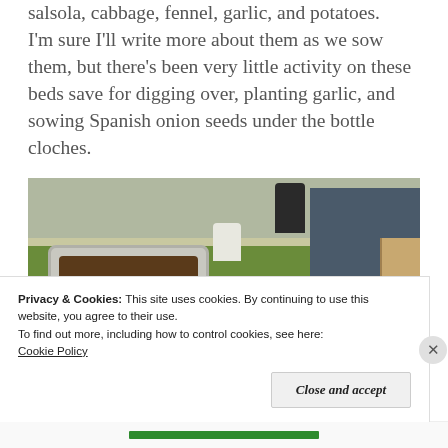salsola, cabbage, fennel, garlic, and potatoes. I'm sure I'll write more about them as we sow them, but there's been very little activity on these beds save for digging over, planting garlic, and sowing Spanish onion seeds under the bottle cloches.
[Figure (photo): Outdoor garden scene showing an old white bathtub used as a raised planter filled with dark soil, a white bag nearby, green grass, bare earth, a dark blue wooden shed, and a black bin in the background.]
Privacy & Cookies: This site uses cookies. By continuing to use this website, you agree to their use.
To find out more, including how to control cookies, see here:
Cookie Policy
Close and accept